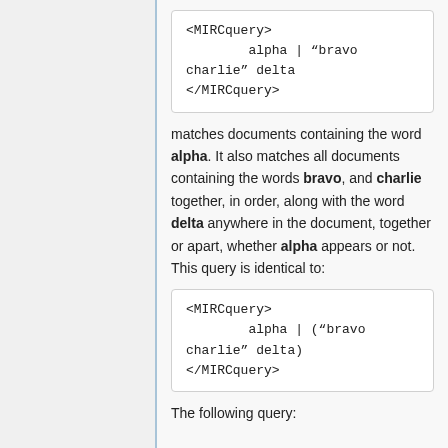<MIRCquery>
        alpha | "bravo charlie" delta
</MIRCquery>
matches documents containing the word alpha. It also matches all documents containing the words bravo, and charlie together, in order, along with the word delta anywhere in the document, together or apart, whether alpha appears or not. This query is identical to:
<MIRCquery>
        alpha | ("bravo charlie" delta)
</MIRCquery>
The following query: